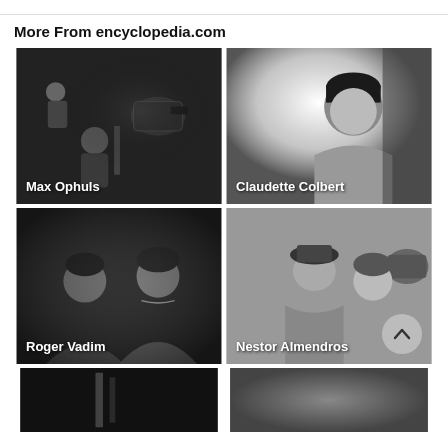More From encyclopedia.com
[Figure (photo): Black and white photo of Max Ophuls on a film set with camera equipment]
[Figure (photo): Black and white glamour portrait of Claudette Colbert]
[Figure (photo): Black and white photo related to Roger Vadim showing a couple]
[Figure (photo): Black and white photo related to Nestor Almendros showing a couple with a back navigation button]
[Figure (photo): Black and white partial photo, bottom left]
[Figure (photo): Black and white partial photo, bottom right]